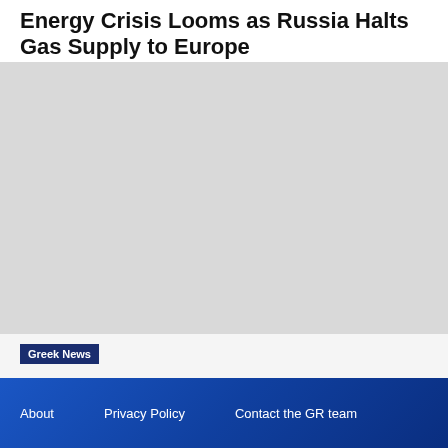Energy Crisis Looms as Russia Halts Gas Supply to Europe
[Figure (photo): Large grey placeholder image area for an article photo]
Greek News
Shipping is Part of Greece's Identity
About   Privacy Policy   Contact the GR team